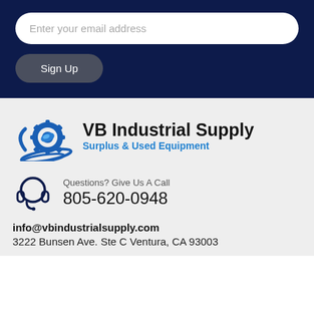Enter your email address
Sign Up
[Figure (logo): VB Industrial Supply logo with gear and swoosh icon in blue, company name 'VB Industrial Supply' in bold black, tagline 'Surplus & Used Equipment' in blue]
Questions? Give Us A Call
805-620-0948
info@vbindustrialsupply.com
3222 Bunsen Ave. Ste C Ventura, CA 93003